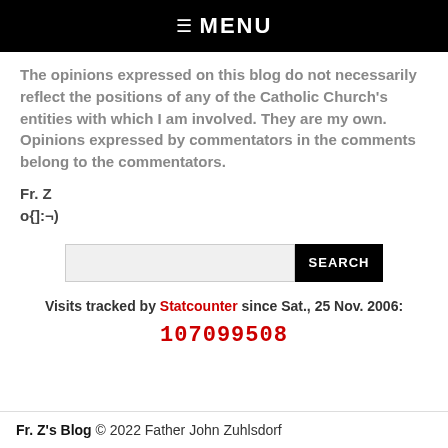☰ MENU
The opinions expressed on this blog do not necessarily reflect the positions of any of the Catholic Church's entities with which I am involved. They are my own. Opinions expressed by commentators in the comments belong to the commentators.
Fr. Z
o{]:-)
Visits tracked by Statcounter since Sat., 25 Nov. 2006:
107099508
Fr. Z's Blog © 2022 Father John Zuhlsdorf